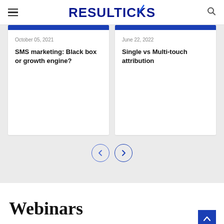RESULTICKS
October 05, 2021
SMS marketing: Black box or growth engine?
June 22, 2022
Single vs Multi-touch attribution
Webinars